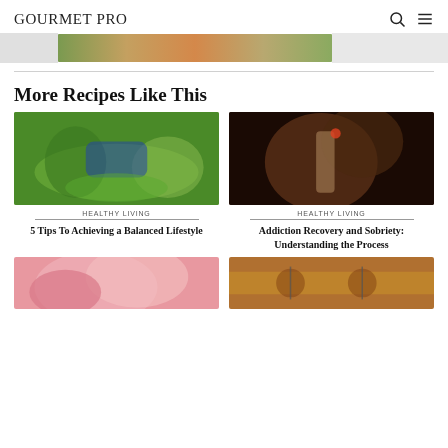GOURMET PRO
[Figure (photo): Partial view of a food/produce image strip at the top]
More Recipes Like This
[Figure (photo): Person lying on grass in a park]
HEALTHY LIVING
5 Tips To Achieving a Balanced Lifestyle
[Figure (photo): Close-up of a person smoking]
HEALTHY LIVING
Addiction Recovery and Sobriety: Understanding the Process
[Figure (photo): Pink flower close-up]
[Figure (photo): Acupuncture or wellness treatment photo]